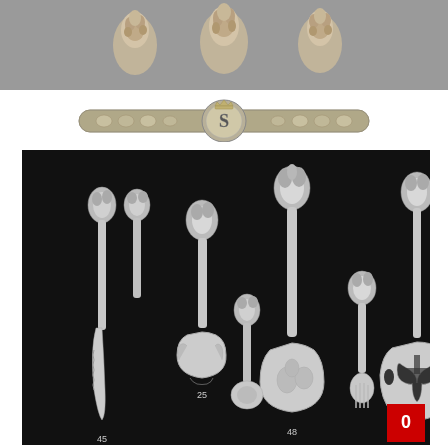[Figure (photo): Top portion showing gray background with three small decorative silver/metallic floral or embossed pieces arranged horizontally]
[Figure (photo): Middle banner: decorative ornate silver bar with floral repousse pattern and central monogram shield medallion with crown on top]
[Figure (photo): Large black background catalog photo showing ornate silver flatware serving pieces with repousse floral handles: includes butter knife (45), sugar shell spoon (25), large serving spoon (48), fish server (26), and other serving utensils, all with elaborate floral decoration. Red box with number 0 in bottom right corner.]